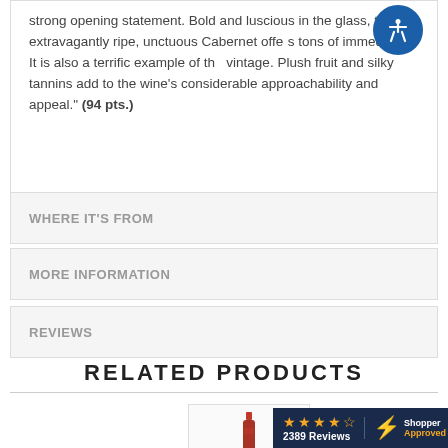strong opening statement. Bold and luscious in the glass, this extravagantly ripe, unctuous Cabernet offers tons of immediacy. It is also a terrific example of the vintage. Plush fruit and silky tannins add to the wine's considerable approachability and appeal." (94 pts.)
WHERE IT'S FROM
MORE INFORMATION
REVIEWS
RELATED PRODUCTS
[Figure (logo): Shopper Approved badge with 4 orange stars, '2389 Reviews' text, lightning bolt icon, and 'Shopper Approved' text on dark navy background]
[Figure (photo): Product thumbnail showing a red wine bottle]